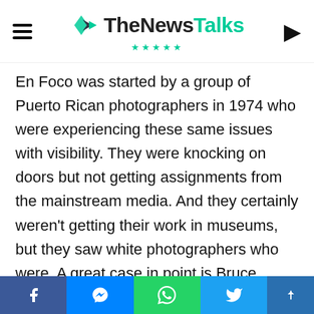TheNewsTalks
En Foco was started by a group of Puerto Rican photographers in 1974 who were experiencing these same issues with visibility. They were knocking on doors but not getting assignments from the mainstream media. And they certainly weren't getting their work in museums, but they saw white photographers who were. A great case in point is Bruce Davidson, whose book East 100th Street, documenting an impoverished block in Harlem, was published when at the same time there were African American photographers that had been covering this very community. The same